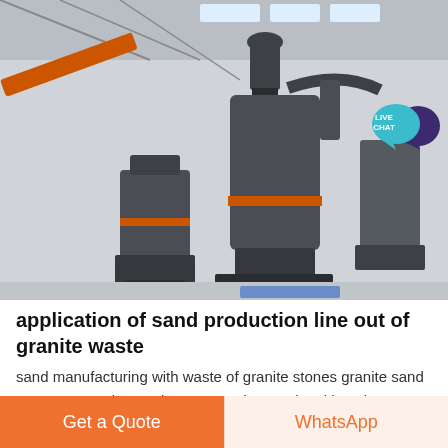[Figure (photo): Industrial grinding mill machines (large vertical roller mills) displayed inside a large factory/exhibition hall. The machines are dark grey with orange accent rings. Multiple units visible, with industrial steel framework and skylights in the background.]
application of sand production line out of granite waste
sand manufacturing with waste of granite stones granite sand waste processing equipment Granite Sand Making Line Process winnermanufacturing Therefore the